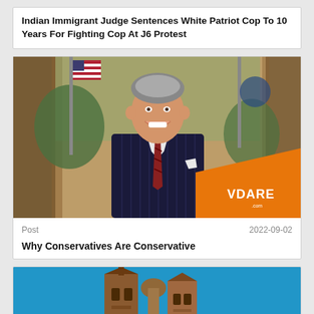Indian Immigrant Judge Sentences White Patriot Cop To 10 Years For Fighting Cop At J6 Protest
[Figure (photo): Photo of Ronald Reagan smiling in the Oval Office, wearing a dark pinstripe suit with a red striped tie, with American flags in the background and a VDARE.com logo overlay in the bottom right corner]
Post   2022-09-02
Why Conservatives Are Conservative
[Figure (photo): Photo of a church or cathedral with brick towers against a bright blue sky]